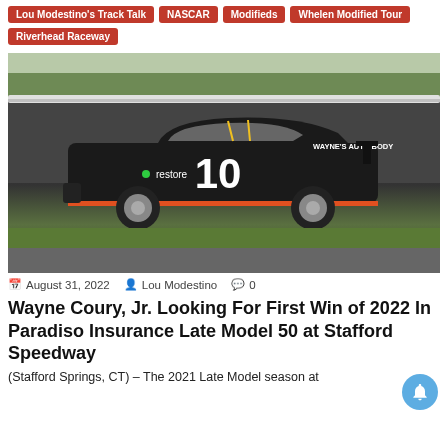Lou Modestino's Track Talk
NASCAR
Modifieds
Whelen Modified Tour
Riverhead Raceway
[Figure (photo): Black NASCAR Late Model race car number 10 with 'restore' and 'Wayne's Auto Body' sponsorship logos on a racetrack with guardrail and trees in background]
August 31, 2022  Lou Modestino  0
Wayne Coury, Jr. Looking For First Win of 2022 In Paradiso Insurance Late Model 50 at Stafford Speedway
(Stafford Springs, CT) – The 2021 Late Model season at